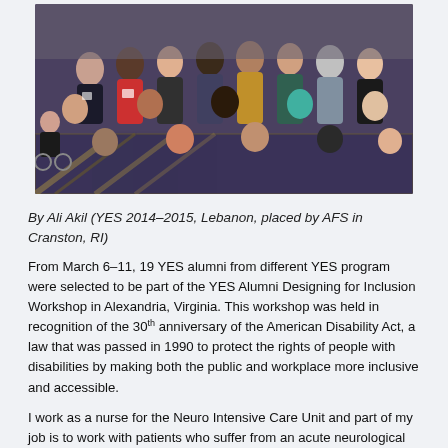[Figure (photo): Group photo of approximately 19 YES alumni posing together indoors, some seated on the floor, some in chairs, one person in a wheelchair, taken at a conference or workshop venue with patterned carpet.]
By Ali Akil (YES 2014–2015, Lebanon, placed by AFS in Cranston, RI)
From March 6–11, 19 YES alumni from different YES program were selected to be part of the YES Alumni Designing for Inclusion Workshop in Alexandria, Virginia. This workshop was held in recognition of the 30th anniversary of the American Disability Act, a law that was passed in 1990 to protect the rights of people with disabilities by making both the public and workplace more inclusive and accessible.
I work as a nurse for the Neuro Intensive Care Unit and part of my job is to work with patients who suffer from an acute neurological problem. I applied for the workshop to broaden my